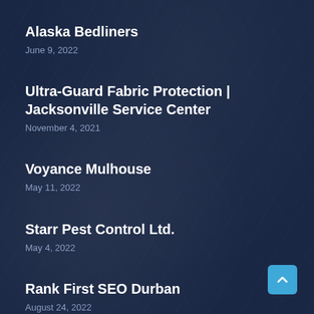Alaska Bedliners
June 9, 2022
Ultra-Guard Fabric Protection | Jacksonville Service Center
November 4, 2021
Voyance Mulhouse
May 11, 2022
Starr Pest Control Ltd.
May 4, 2022
Rank First SEO Durban
August 24, 2022